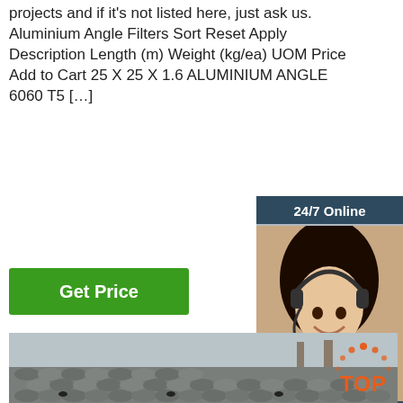projects and if it's not listed here, just ask us. Aluminium Angle Filters Sort Reset Apply Description Length (m) Weight (kg/ea) UOM Price Add to Cart 25 X 25 X 1.6 ALUMINIUM ANGLE 6060 T5 […]
[Figure (other): Green 'Get Price' button]
[Figure (photo): Customer service representative with headset, 24/7 Online sidebar with chat and QUOTATION button]
[Figure (photo): Stacked steel rebar/angle iron rods in a warehouse yard]
[Figure (logo): TOP logo with orange dots in arc pattern]